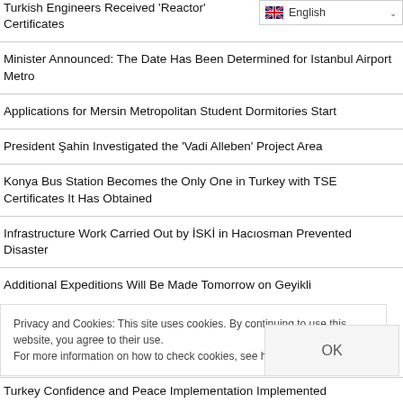Turkish Engineers Received 'Reactor' Certificates
[Figure (screenshot): English language selector dropdown button with UK flag]
Minister Announced: The Date Has Been Determined for Istanbul Airport Metro
Applications for Mersin Metropolitan Student Dormitories Start
President Şahin Investigated the 'Vadi Alleben' Project Area
Konya Bus Station Becomes the Only One in Turkey with TSE Certificates It Has Obtained
Infrastructure Work Carried Out by İSKİ in Hacıosman Prevented Disaster
Additional Expeditions Will Be Made Tomorrow on Geyikli
Privacy and Cookies: This site uses cookies. By continuing to use this website, you agree to their use. For more information on how to check cookies, see here: Cookie Policy
Turkey Confidence and Peace Implementation Implemented